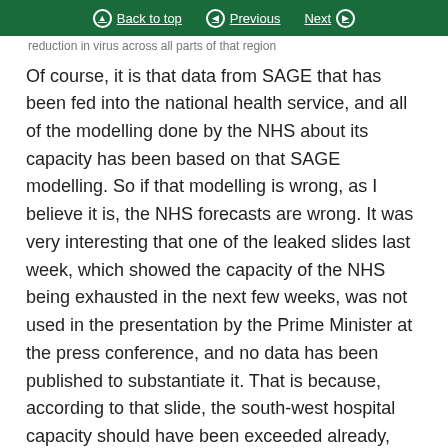Back to top | Previous | Next
reduction in virus across all parts of that region
Of course, it is that data from SAGE that has been fed into the national health service, and all of the modelling done by the NHS about its capacity has been based on that SAGE modelling. So if that modelling is wrong, as I believe it is, the NHS forecasts are wrong. It was very interesting that one of the leaked slides last week, which showed the capacity of the NHS being exhausted in the next few weeks, was not used in the presentation by the Prime Minister at the press conference, and no data has been published to substantiate it. That is because, according to that slide, the south-west hospital capacity should have been exceeded already, and it has not, and it is nowhere near being exceeded. Therefore, in that context, I believe the